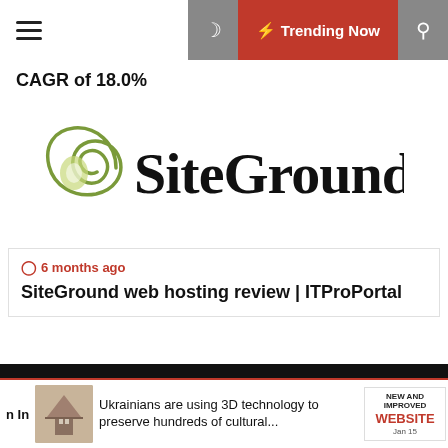Trending Now
CAGR of 18.0%
[Figure (logo): SiteGround logo — stylized spiral leaf icon in olive green with 'SiteGround' wordmark in black hand-lettered font]
6 months ago
SiteGround web hosting review | ITProPortal
[Figure (screenshot): Dark social media bar with Instagram, megaphone/announcement, and LinkedIn icons on right side]
on In   Ukrainians are using 3D technology to preserve hundreds of cultural...
[Figure (photo): Small thumbnail of a historic building/church]
NEW AND IMPROVED WEBSITE